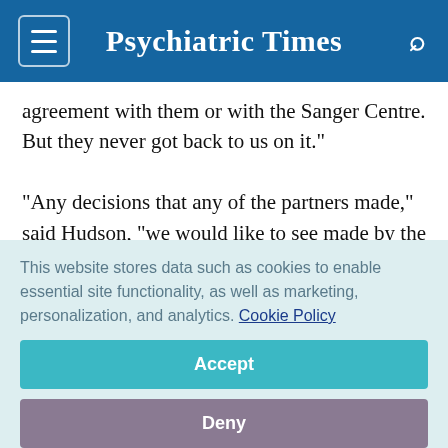Psychiatric Times
agreement with them or with the Sanger Centre. But they never got back to us on it."
"Any decisions that any of the partners made," said Hudson, "we would like to see made by the international consortium." It seems unlikely that any agreement would be approved by the consortium that did not provide for complete public accessibility, as is required by the
This website stores data such as cookies to enable essential site functionality, as well as marketing, personalization, and analytics. Cookie Policy
Accept
Deny